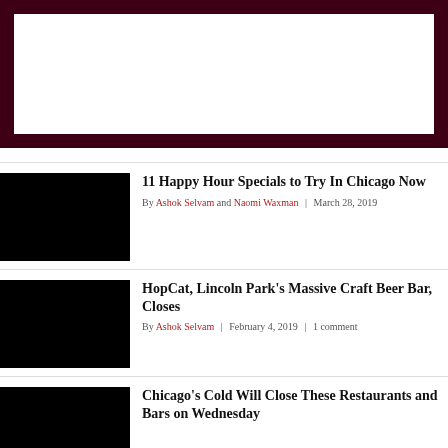[Figure (other): Advertisement banner with dark maroon border on white background]
[Figure (photo): Thumbnail image for article: 11 Happy Hour Specials to Try In Chicago Now (black placeholder)]
11 Happy Hour Specials to Try In Chicago Now
By Ashok Selvam and Naomi Waxman | March 28, 2019
[Figure (photo): Thumbnail image for article: HopCat, Lincoln Park's Massive Craft Beer Bar, Closes (black placeholder)]
HopCat, Lincoln Park's Massive Craft Beer Bar, Closes
By Ashok Selvam | February 4, 2019 | 1 comment
[Figure (photo): Thumbnail image for article: Chicago's Cold Will Close These Restaurants and Bars on Wednesday (black placeholder)]
Chicago's Cold Will Close These Restaurants and Bars on Wednesday